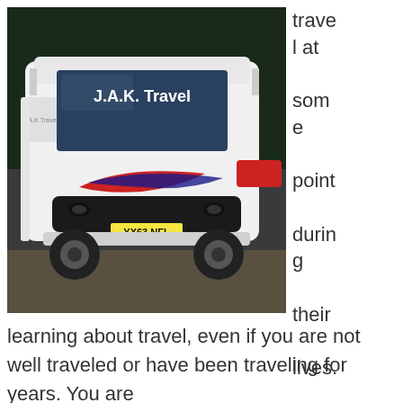[Figure (photo): A white J.A.K. Travel coach bus parked on a gravel/asphalt area with trees in background. The bus has red and blue swoosh livery on its front, and license plate YX63 NFL. The destination display reads 'J.A.K. Travel'.]
travel at some point during their lives. You can gain a lot by learning about travel, even if you are not well traveled or have been traveling for years. You are